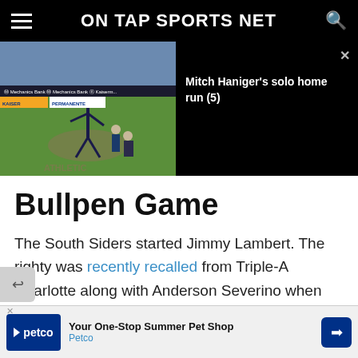ON TAP SPORTS NET
[Figure (screenshot): Baseball game video thumbnail showing pitcher on mound with batter and catcher, green field, stadium crowd visible. Overlay panel on right with video title.]
Mitch Haniger's solo home run (5)
Bullpen Game
The South Siders started Jimmy Lambert. The righty was recently recalled from Triple-A Charlotte along with Anderson Severino when Lucas Giolito and AJ Pollock went on the IL. The addition of the two pi... a h... ee
[Figure (infographic): Petco advertisement banner: 'Your One-Stop Summer Pet Shop - Petco']